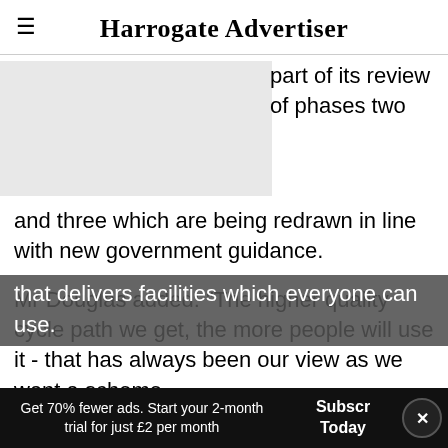Harrogate Advertiser
[Figure (photo): Grey placeholder image block on the left side]
part of its review of phases two and three which are being redrawn in line with new government guidance.
Mr Douglas added: "The higher quality cycle path we get, the more people will use it - that has always been our view as we want a scheme that delivers facilities which everyone can use.
Get 70% fewer ads. Start your 2-month trial for just £2 per month   Subscribe Today